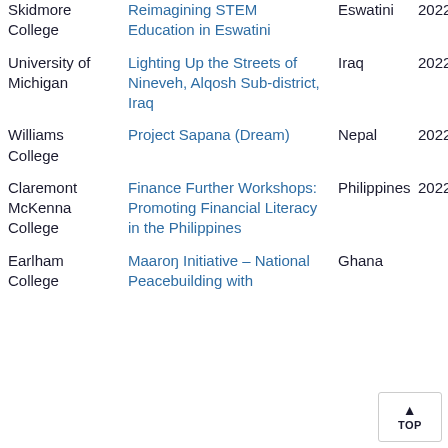| Institution | Project | Country | Year |
| --- | --- | --- | --- |
| Skidmore College | Reimagining STEM Education in Eswatini | Eswatini | 2022 |
| University of Michigan | Lighting Up the Streets of Nineveh, Alqosh Sub-district, Iraq | Iraq | 2022 |
| Williams College | Project Sapana (Dream) | Nepal | 2022 |
| Claremont McKenna College | Finance Further Workshops: Promoting Financial Literacy in the Philippines | Philippines | 2022 |
| Earlham College | Maaroŋ Initiative – National Peacebuilding with | Ghana |  |